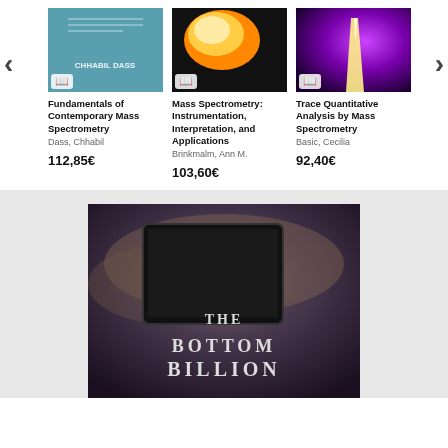[Figure (photo): Book cover for Fundamentals of Contemporary Mass Spectrometry by Dass, Chhabil. Teal/blue colored cover.]
Fundamentals of Contemporary Mass Spectrometry
Dass, Chhabil
112,85€
[Figure (photo): Book cover for Mass Spectrometry: Instrumentation, Interpretation, and Applications by Brinkmalm, Ann M. Dark cover with orange orb.]
Mass Spectrometry: Instrumentation, Interpretation, and Applications
Brinkmalm, Ann M.
103,60€
[Figure (photo): Book cover for Trace Quantitative Analysis by Mass Spectrometry by Basic, Cecilia. Purple gradient cover with tower.]
Trace Quantitative Analysis by Mass Spectrometry
Basic, Cecilia
92,40€
[Figure (photo): Book cover for The Bottom Billion shown partially at bottom of page. Dark atmospheric image with city and book/device overlay. Title text visible.]